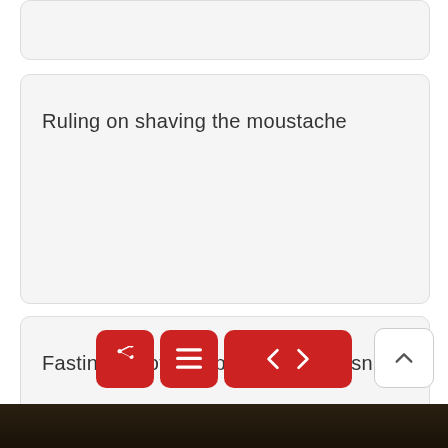Ruling on shaving the moustache
Fasting is not accepted if one doesn't pray
[Figure (screenshot): Navigation bar with four red buttons: share/forward icon, menu icon, back arrow, forward arrow; and a white scroll-to-top button with upward caret]